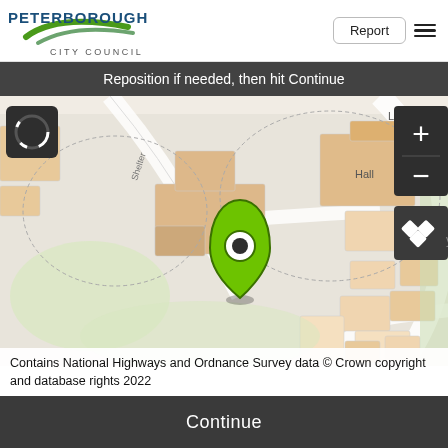PETERBOROUGH CITY COUNCIL
Reposition if needed, then hit Continue
[Figure (map): Ordnance Survey street map showing buildings in orange/tan with a green map pin marker in the centre. Zoom controls (+/-) on right side. Layer switcher button. Spinner/loading icon top left. Label 'Hall' visible on a building. 'LB' label top right. 'Shelter' road label on left side.]
Contains National Highways and Ordnance Survey data © Crown copyright and database rights 2022
Continue